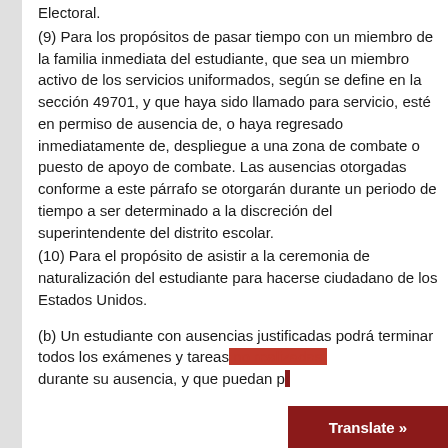Electoral.
(9) Para los propósitos de pasar tiempo con un miembro de la familia inmediata del estudiante, que sea un miembro activo de los servicios uniformados, según se define en la sección 49701, y que haya sido llamado para servicio, esté en permiso de ausencia de, o haya regresado inmediatamente de, despliegue a una zona de combate o puesto de apoyo de combate. Las ausencias otorgadas conforme a este párrafo se otorgarán durante un periodo de tiempo a ser determinado a la discreción del superintendente del distrito escolar.
(10) Para el propósito de asistir a la ceremonia de naturalización del estudiante para hacerse ciudadano de los Estados Unidos.
(b) Un estudiante con ausencias justificadas podrá terminar todos los exámenes y tareas no realizadas durante su ausencia, y que puedan pr